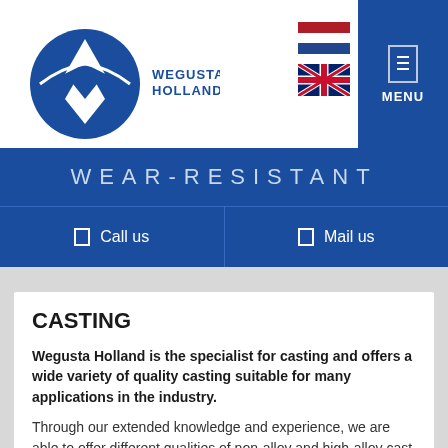[Figure (logo): Wegusta Holland logo — blue circular emblem with stylized W/anchor shape and company name WEGUSTA HOLLAND in blue text]
[Figure (other): Dutch flag and UK flag icons for language selection]
[Figure (other): Menu icon — white rectangle outline with MENU label below, on blue background]
WEAR-RESISTANT
Call us
Mail us
CASTING
Wegusta Holland is the specialist for casting and offers a wide variety of quality casting suitable for many applications in the industry.
Through our extended knowledge and experience, we are able to offer different qualities of non-alloy and high-alloy cast steels, Ni-